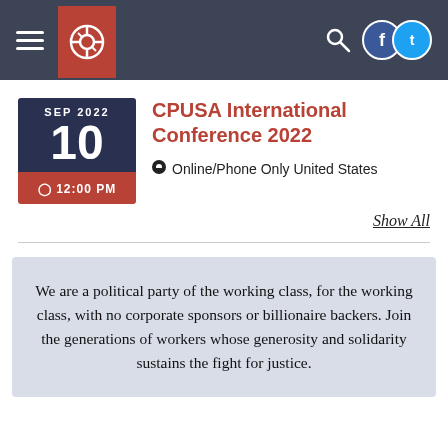CPUSA website navigation header with hamburger menu, logo, search icon, and social media icons
CPUSA International Conference 2022
SEP 2022
10
12:00 PM
Online/Phone Only United States
Show All
We are a political party of the working class, for the working class, with no corporate sponsors or billionaire backers. Join the generations of workers whose generosity and solidarity sustains the fight for justice.